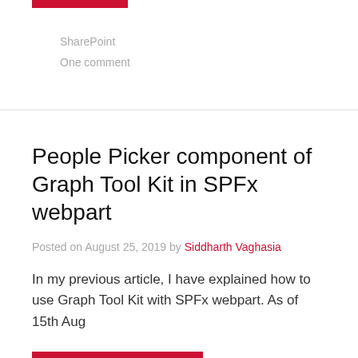[Figure (other): Red horizontal bar at top of card section]
SharePoint
One comment
People Picker component of Graph Tool Kit in SPFx webpart
Posted on August 25, 2019 by Siddharth Vaghasia
In my previous article, I have explained how to use Graph Tool Kit with SPFx webpart. As of 15th Aug
Continue reading